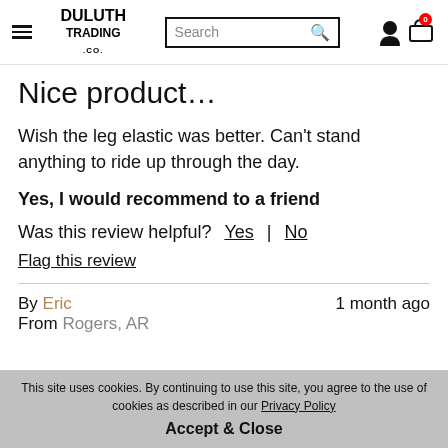Duluth Trading Co — Search — Account — Cart (0)
Nice product…
Wish the leg elastic was better. Can't stand anything to ride up through the day.
Yes, I would recommend to a friend
Was this review helpful? Yes | No
Flag this review
By Eric   1 month ago
From Rogers, AR
This site uses cookies. By continuing to use this site, you agree to the use of cookies as described in our Privacy Policy
Accept & Close